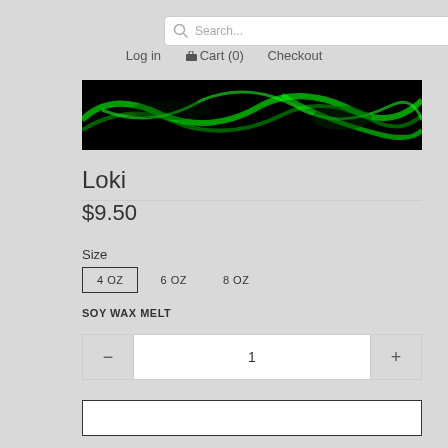Search...
Log in  Cart (0)  Checkout
[Figure (photo): Product banner image showing green smoke or aurora-like patterns on a black background]
Loki
$9.50
Size
4 OZ   6 OZ   8 OZ
SOY WAX MELT
1